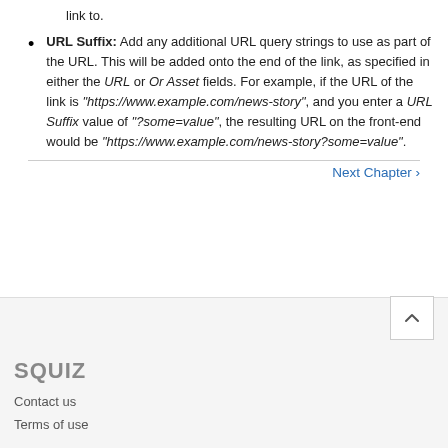link to.
URL Suffix: Add any additional URL query strings to use as part of the URL. This will be added onto the end of the link, as specified in either the URL or Or Asset fields. For example, if the URL of the link is "https://www.example.com/news-story", and you enter a URL Suffix value of "?some=value", the resulting URL on the front-end would be "https://www.example.com/news-story?some=value".
Next Chapter ›
[Figure (logo): Squiz logo in grey text]
Contact us
Terms of use